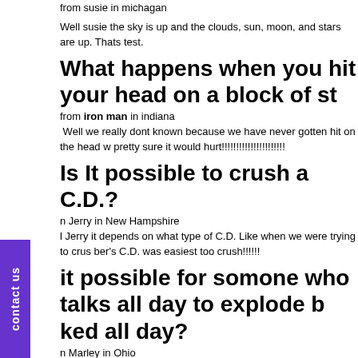from susie in michagan
Well susie the sky is up and the clouds, sun, moon, and stars are up. Thats test.
What happens when you hit your head on a block of st
from iron man in indiana
Well we really dont known because we have never gotten hit on the head w pretty sure it would hurt!!!!!!!!!!!!!!!!!!!!!!
Is It possible to crush a C.D.?
n Jerry in New Hampshire
l Jerry it depends on what type of C.D. Like when we were trying to crus ber's C.D. was easiest too crush!!!!!!
it possible for somone who talks all day to explode b ked all day?
n Marley in Ohio
l Marley maggie and catherine, us, went to lindsay for this question. " Li question sent in from Marley?" asked reporter maggie. " It depends on the tree student and a friend of maggie and catherine's " Like I no Maggie woul probably would too" Well there you have it Marley it is possible for someone not talking just depends on the person.
Is it possible for a baby to crawl a mile?
from carly in loiusiana
We are not sure because all the babies we tried it out with wouldn't move so
what would happen if justin bieber took over the world?
from Michaela in wilmington